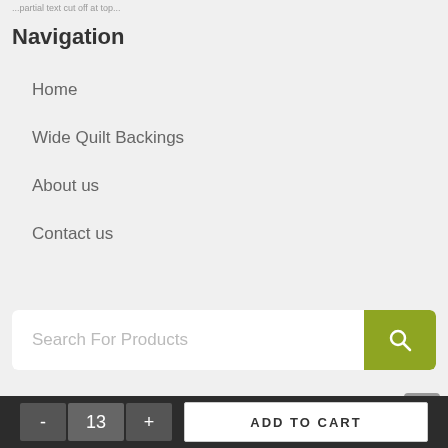...partial text visible at top...
Navigation
Home
Wide Quilt Backings
About us
Contact us
[Figure (other): Search bar with text 'Search For Products' and a green search button with magnifying glass icon]
Call us today 1800 641 901
- 13 + ADD TO CART